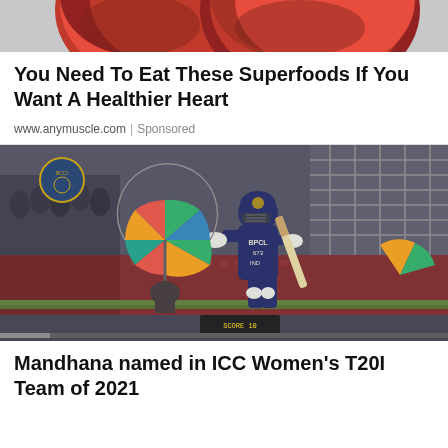[Figure (photo): Partial top of image showing red fruits/pomegranates cropped at top of page]
You Need To Eat These Superfoods If You Want A Healthier Heart
www.anymuscle.com | Sponsored
[Figure (photo): Cricket match scene: Indian women's cricket player in dark blue uniform holding a bat, with a colorful multi-colored umbrella (red, green, blue, yellow) visible, stadium seating in background, BCCI logo in top left corner, scoreboard partially visible at bottom]
Mandhana named in ICC Women's T20I Team of 2021